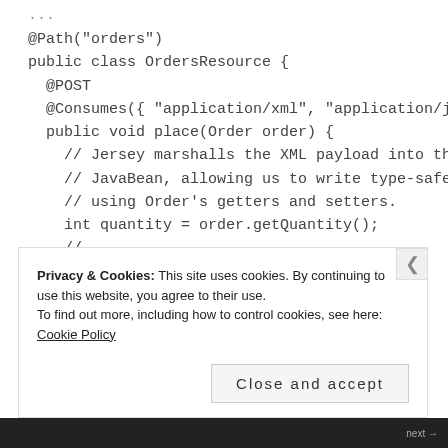...
@Path("orders")
public class OrdersResource {
  @POST
  @Consumes({ "application/xml", "application/json" })
  public void place(Order order) {
    // Jersey marshalls the XML payload into the Order
    // JavaBean, allowing us to write type-safe code
    // using Order's getters and setters.
    int quantity = order.getQuantity();
    // ...
  }
Privacy & Cookies: This site uses cookies. By continuing to use this website, you agree to their use.
To find out more, including how to control cookies, see here: Cookie Policy
Close and accept
next